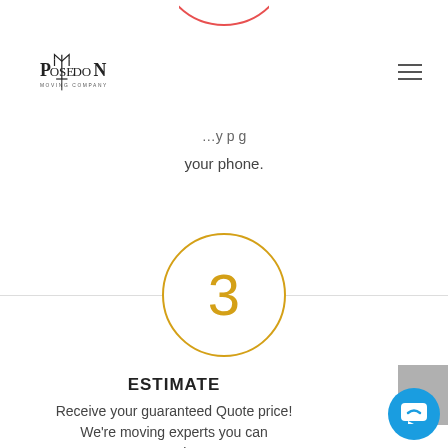[Figure (logo): Poseidon Moving Company logo with trident symbol]
your phone.
[Figure (infographic): Step 3 circle icon with gold border and number 3 in gold color, centered on a horizontal divider line]
ESTIMATE
Receive your guaranteed Quote price! We're moving experts you can 100% rely on.